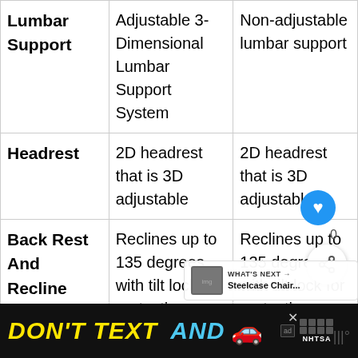|  | Column 1 | Column 2 |
| --- | --- | --- |
| Lumbar Support | Adjustable 3-Dimensional Lumbar Support System | Non-adjustable lumbar support |
| Headrest | 2D headrest that is 3D adjustable | 2D headrest that is 3D adjustable |
| Back Rest And Recline Feature | Reclines up to 135 degrees with tilt lock for protection | Reclines up to 135 degrees with tilt lock for protection |